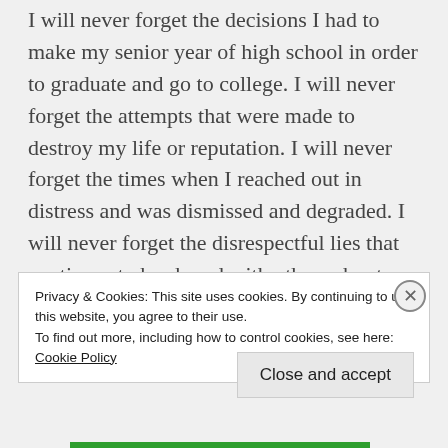I will never forget the decisions I had to make my senior year of high school in order to graduate and go to college.  I will never forget the attempts that were made to destroy my life or reputation. I will never forget the times when I reached out in distress and was dismissed and degraded.  I will never forget the disrespectful lies that continues to be shared with others about things that you don't know about and aren't even remotely true or accurate.
Privacy & Cookies: This site uses cookies. By continuing to use this website, you agree to their use.
To find out more, including how to control cookies, see here: Cookie Policy
Close and accept